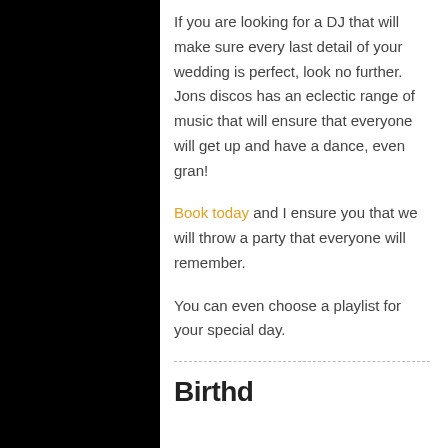If you are looking for a DJ that will make sure every last detail of your wedding is perfect, look no further. Jons discos has an eclectic range of music that will ensure that everyone will get up and have a dance, even gran!
Book today and I ensure you that we will throw a party that everyone will remember.
You can even choose a playlist for your special day.
Birthday